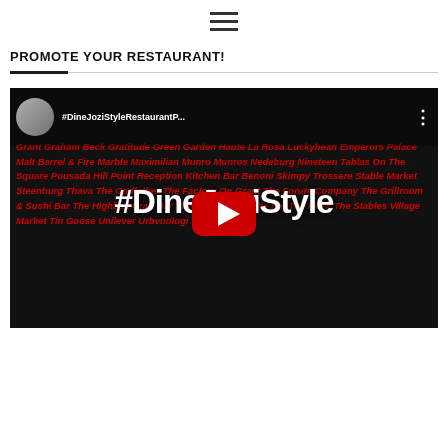☰ (hamburger menu icon)
PROMOTE YOUR RESTAURANT!
[Figure (screenshot): YouTube video thumbnail for #DineJoziStyleRestaurantP... — black background with red italic restaurant names text listing many Johannesburg restaurants (Grant, Graham Beck, Gratitude, Green Garden, Haute, La Rosa, Luckybean, Emperors Palace, Malt Barrel & Fire, Marble, Maximilian, Munro, Nedeburg, Nineteen, on The Square, Pousada Hill Point, Reception Kitchen Bar, Skimpy, Trossere, Stable Market, Steenburg, Thava, The Codfather, The Factory On Grant, The Forum Company, The Grillroom & Sushi Bar, The Highball Craft Bar, The Hussar Grill, The Raj, The Rock, The Stables, Village Market, Tin Goose, Unilever, Urbvnologi, Valley…), with a large white #DineJoziStyle text overlay, a red YouTube play button in the center, and a user avatar with channel name at the top left.]